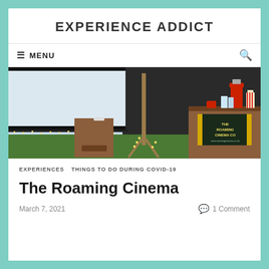EXPERIENCE ADDICT
MENU
[Figure (photo): Outdoor cinema setup in a garden with a large projection screen decorated with fairy lights, a wooden speaker box, and a concession stand displaying 'The Roaming Cinema Co' sign with popcorn and drinks.]
EXPERIENCES   THINGS TO DO DURING COVID-19
The Roaming Cinema
March 7, 2021
1 Comment